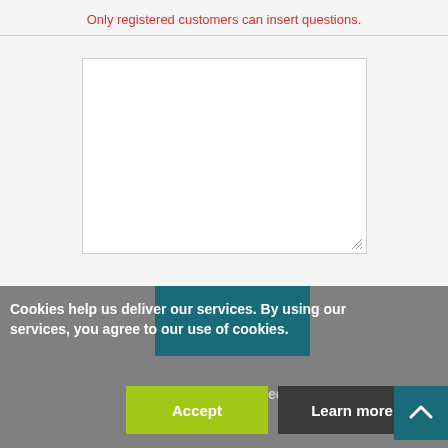Only registered customers can insert questions.
[Figure (screenshot): Empty textarea input field with resize handle at bottom-right]
Cookies help us deliver our services. By using our services, you agree to our use of cookies.
Accept
Learn more
ed questions.